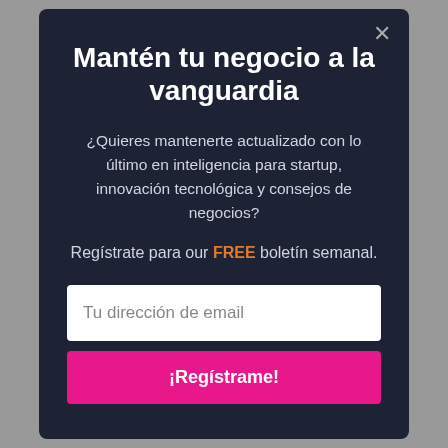Mantén tu negocio a la vanguardia
¿Quieres mantenerte actualizado con lo último en inteligencia para startup, innovación tecnológica y consejos de negocios?
Regístrate para our FREE boletín semanal.
Tu dirección de email
¡Regístrame!